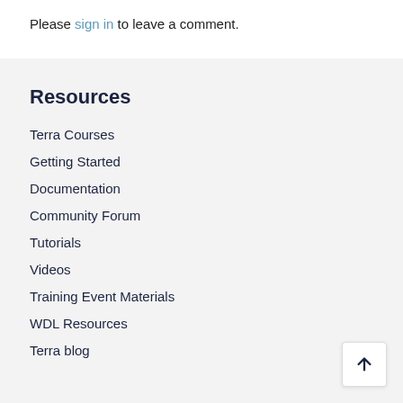Please sign in to leave a comment.
Resources
Terra Courses
Getting Started
Documentation
Community Forum
Tutorials
Videos
Training Event Materials
WDL Resources
Terra blog